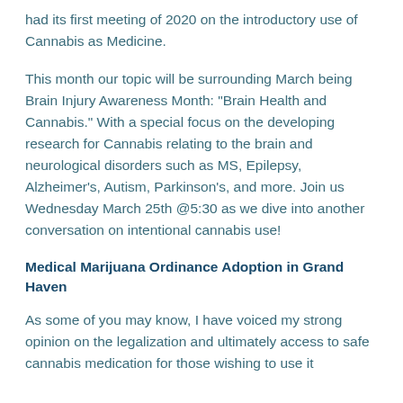had its first meeting of 2020 on the introductory use of Cannabis as Medicine.
This month our topic will be surrounding March being Brain Injury Awareness Month: "Brain Health and Cannabis." With a special focus on the developing research for Cannabis relating to the brain and neurological disorders such as MS, Epilepsy, Alzheimer's, Autism, Parkinson's, and more. Join us Wednesday March 25th @5:30 as we dive into another conversation on intentional cannabis use!
Medical Marijuana Ordinance Adoption in Grand Haven
As some of you may know, I have voiced my strong opinion on the legalization and ultimately access to safe cannabis medication for those wishing to use it